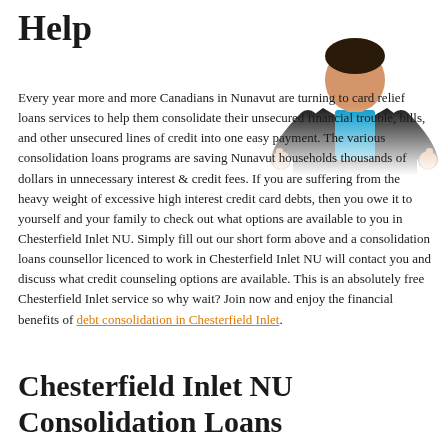Help
[Figure (photo): Person in business suit giving two thumbs up, upper body visible, white background]
Every year more and more Canadians in Nunavut are turning to card relief loans services to help them consolidate their unsecured financial trouble, bills, and other unsecured lines of credit into one easy payment. The various consolidation loans programs are saving Nunavut households thousands of dollars in unnecessary interest & credit fees. If you are suffering from the heavy weight of excessive high interest credit card debts, then you owe it to yourself and your family to check out what options are available to you in Chesterfield Inlet NU. Simply fill out our short form above and a consolidation loans counsellor licenced to work in Chesterfield Inlet NU will contact you and discuss what credit counseling options are available. This is an absolutely free Chesterfield Inlet service so why wait? Join now and enjoy the financial benefits of debt consolidation in Chesterfield Inlet.
Chesterfield Inlet NU Consolidation Loans